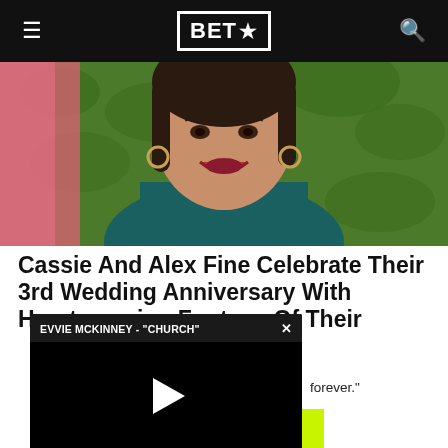BET★
[Figure (photo): Woman smiling at camera wearing teal/green blazer, in front of a pink backdrop and green hedge wall]
Cassie And Alex Fine Celebrate Their 3rd Wedding Anniversary With Heartwarming Footage Of Their
[Figure (screenshot): Video player overlay showing EVVIE MCKINNEY - CHURCH with play button and video controls]
forever."
LOAD MORE